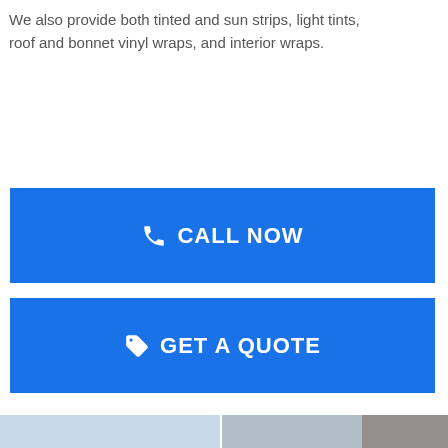We also provide both tinted and sun strips, light tints, roof and bonnet vinyl wraps, and interior wraps.
[Figure (other): Blue button with phone icon and text CALL NOW]
[Figure (other): Blue button with tag icon and text GET A QUOTE]
[Figure (photo): Photo of a car windshield with dark tint, showing reflections of clouds and trees]
[Figure (photo): Photo of a car headlight area with dark tint applied]